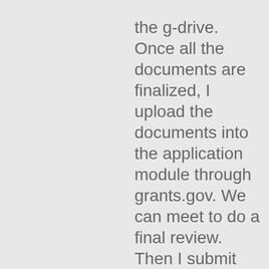the g-drive. Once all the documents are finalized, I upload the documents into the application module through grants.gov. We can meet to do a final review. Then I submit the application on behalf of AU to the federal agency. A submission confirmation is